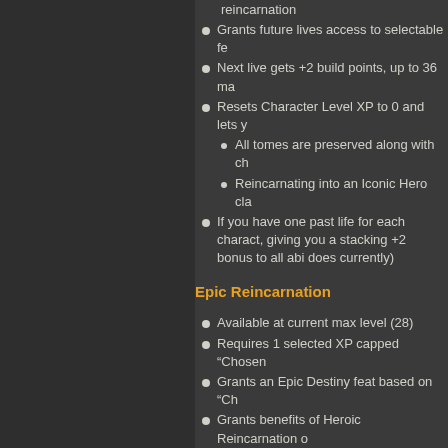reincarnation
Grants future lives access to selectable fe
Next live gets +2 build points, up to 36 ma
Resets Character Level XP to 0 and lets y
All tomes are preserved along with ch
Reincarnating into an Iconic Hero cla
If you have one past life for each charact, giving you a stacking +2 bonus to all abili does currently)
Epic Reincarnation
Available at current max level (28)
Requires 1 selected XP capped “Chosen
Grants an Epic Destiny feat based on “Ch
Grants benefits of Heroic Reincarnation o
Max build points is 38
Resets Character Level XP to 0 and lets y
All tomes are preserved along with ch
If a character has every Heroic Past L start at level 20 when they do an Epic
Reincarnating into an Iconic Hero